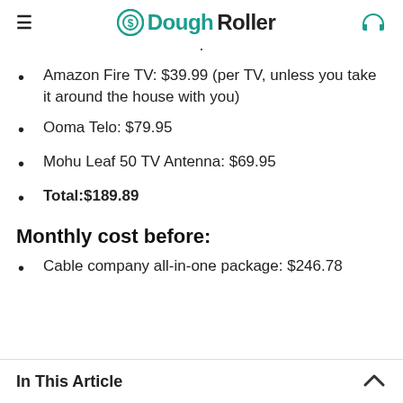DoughRoller
Amazon Fire TV: $39.99 (per TV, unless you take it around the house with you)
Ooma Telo: $79.95
Mohu Leaf 50 TV Antenna: $69.95
Total:$189.89
Monthly cost before:
Cable company all-in-one package: $246.78
In This Article